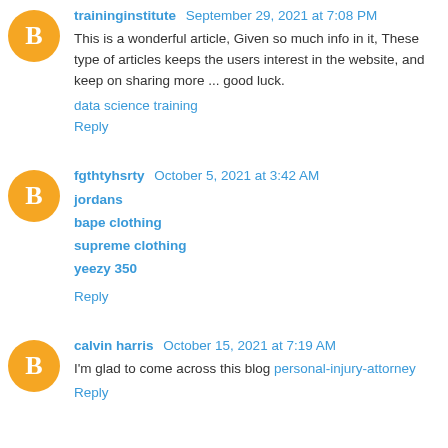traininginstitute  September 29, 2021 at 7:08 PM
This is a wonderful article, Given so much info in it, These type of articles keeps the users interest in the website, and keep on sharing more ... good luck.
data science training
Reply
fgthtyhsrty  October 5, 2021 at 3:42 AM
jordans
bape clothing
supreme clothing
yeezy 350
Reply
calvin harris  October 15, 2021 at 7:19 AM
I'm glad to come across this blog personal-injury-attorney
Reply